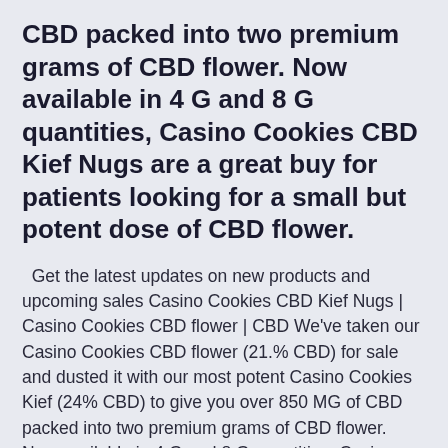CBD packed into two premium grams of CBD flower. Now available in 4 G and 8 G quantities, Casino Cookies CBD Kief Nugs are a great buy for patients looking for a small but potent dose of CBD flower.
Get the latest updates on new products and upcoming sales Casino Cookies CBD Kief Nugs | Casino Cookies CBD flower | CBD We've taken our Casino Cookies CBD flower (21.% CBD) for sale and dusted it with our most potent Casino Cookies Kief (24% CBD) to give you over 850 MG of CBD packed into two premium grams of CBD flower. Now available in 4 G and 8 G quantities, Casino Cookies CBD Kief Nugs are a great buy for patients looking for a small but potent dose of CBD flower. PRODUCT CBD AXIS CBD Axis Gold N